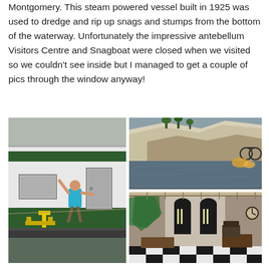Montgomery. This steam powered vessel built in 1925 was used to dredge and rip up snags and stumps from the bottom of the waterway. Unfortunately the impressive antebellum Visitors Centre and Snagboat were closed when we visited so we couldn't see inside but I managed to get a couple of pics through the window anyway!
[Figure (photo): Large photo on left: A green and white steam snagboat/vessel docked at water level, with a man in a turquoise shirt waving while standing near a door on the boat.]
[Figure (photo): Top right photo: River scene with tall white/grey limestone bluffs or cliffs visible across muddy water, some vegetation and bicycles visible at edge.]
[Figure (photo): Bottom right photo: Interior of the antebellum Visitors Centre shot through window, showing a long hallway with black and white checkered floor, arched doorways, and decorative elements including what appears to be a green sculptural piece.]